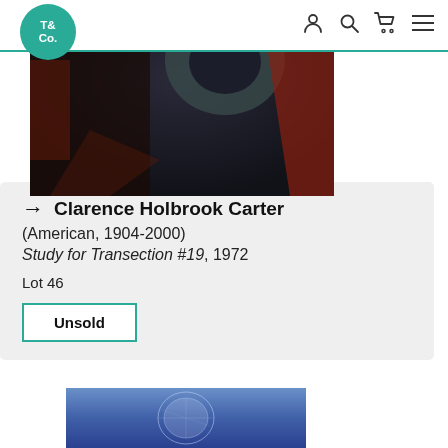T& Co. navigation header with logo, user, search, cart, and menu icons
[Figure (photo): Partial view of an artwork showing dark tones with brownish-red and teal/grey geometric shapes on a dark background]
→ Clarence Holbrook Carter
(American, 1904-2000)
Study for Transection #19, 1972
Lot 46
Unsold
[Figure (photo): Artwork showing a translucent oval/egg shape against a blue gradient background]